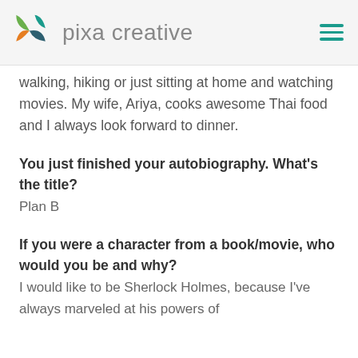[Figure (logo): Pixa Creative logo with colorful geometric bird/butterfly shape and company name in grey]
walking, hiking or just sitting at home and watching movies. My wife, Ariya, cooks awesome Thai food and I always look forward to dinner.
You just finished your autobiography. What's the title?
Plan B
If you were a character from a book/movie, who would you be and why?
I would like to be Sherlock Holmes, because I've always marveled at his powers of